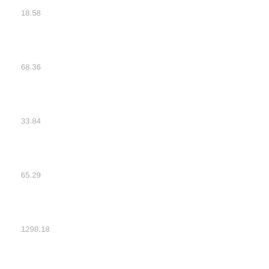18.58
68.36
33.84
65.29
1298.18
LsbEp
20,
1.19
5.18
11.75
12.75
69.13